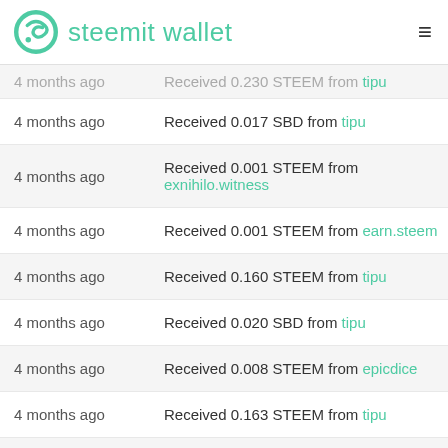steemit wallet
| Time | Description |
| --- | --- |
| 4 months ago | Received 0.230 STEEM from tipu |
| 4 months ago | Received 0.017 SBD from tipu |
| 4 months ago | Received 0.001 STEEM from exnihilo.witness |
| 4 months ago | Received 0.001 STEEM from earn.steem |
| 4 months ago | Received 0.160 STEEM from tipu |
| 4 months ago | Received 0.020 SBD from tipu |
| 4 months ago | Received 0.008 STEEM from epicdice |
| 4 months ago | Received 0.163 STEEM from tipu |
| 4 months ago | Received 0.015 SBD from tipu |
| 4 months ago | Received 0.230 STEEM from tipu |